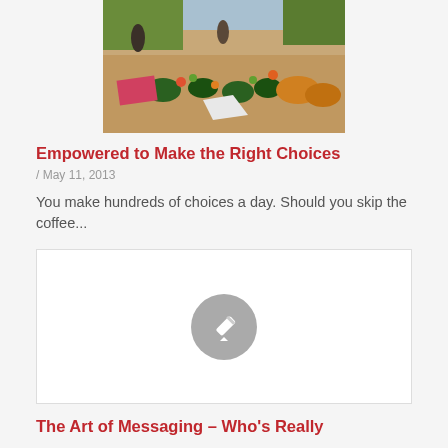[Figure (photo): Outdoor market scene with people, colorful produce, fruits and vegetables in baskets and buckets on the ground]
Empowered to Make the Right Choices
/ May 11, 2013
You make hundreds of choices a day. Should you skip the coffee...
[Figure (other): Placeholder image with grey pencil/edit icon on white background]
The Art of Messaging – Who's Really